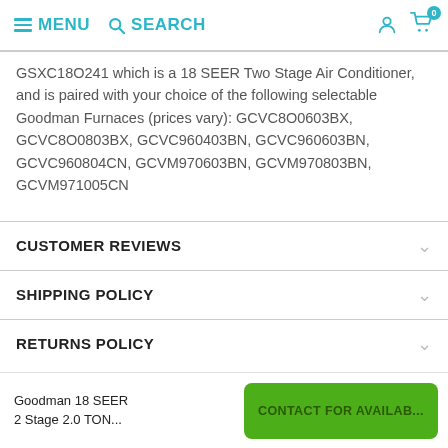MENU  SEARCH
GSXC18O241 which is a 18 SEER Two Stage Air Conditioner, and is paired with your choice of the following selectable Goodman Furnaces (prices vary): GCVC8O0603BX, GCVC8O0803BX, GCVC960403BN, GCVC960603BN, GCVC960804CN, GCVM970603BN, GCVM970803BN, GCVM971005CN
CUSTOMER REVIEWS
SHIPPING POLICY
RETURNS POLICY
Goodman 18 SEER 2 Stage 2.0 TON...
CONTACT FOR AVAILAB...